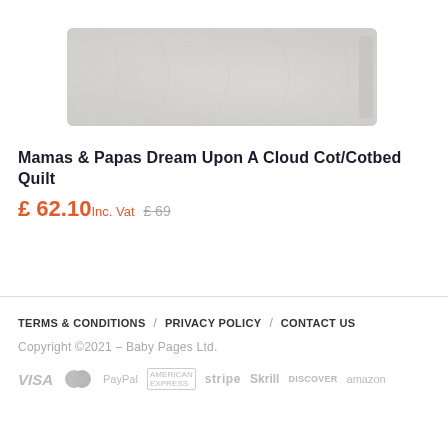[Figure (photo): Product photo of a white/cream quilted baby cot/cotbed quilt, rectangular shape with textured surface, shown on white background.]
Mamas & Papas Dream Upon A Cloud Cot/Cotbed Quilt
£ 62.10 Inc. Vat  £ 69
TERMS & CONDITIONS / PRIVACY POLICY / CONTACT US
Copyright ©2021 – Baby Pages Ltd.
VISA MasterCard PayPal AMERICAN EXPRESS stripe Skrill DISCOVER amazon